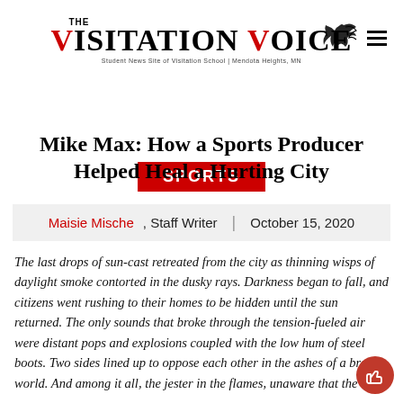THE VISITATION VOICE — Student News Site of Visitation School | Mendota Heights, MN
SPORTS
Mike Max: How a Sports Producer Helped Heal a Hurting City
Maisie Mische, Staff Writer | October 15, 2020
The last drops of sun-cast retreated from the city as thinning wisps of daylight smoke contorted in the dusky rays. Darkness began to fall, and citizens went rushing to their homes to be hidden until the sun returned. The only sounds that broke through the tension-fueled air were distant pops and explosions coupled with the low hum of steel boots. Two sides lined up to oppose each other in the ashes of a broken world. And among it all, the jester in the flames, unaware that the